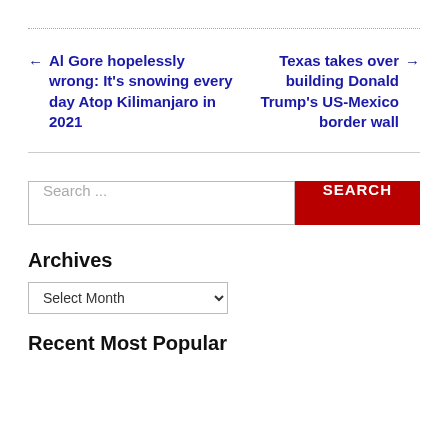← Al Gore hopelessly wrong: It's snowing every day Atop Kilimanjaro in 2021
Texas takes over building Donald Trump's US-Mexico border wall →
Search ...
Archives
Select Month
Recent Most Popular